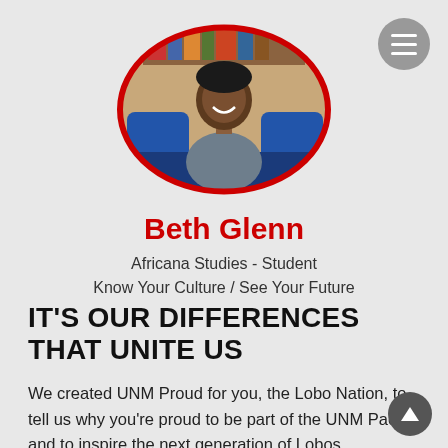[Figure (photo): Oval portrait photo of Beth Glenn, a woman smiling, seated on a blue sofa with a bookshelf in the background, framed by a red oval border]
Beth Glenn
Africana Studies - Student
Know Your Culture / See Your Future
IT'S OUR DIFFERENCES THAT UNITE US
We created UNM Proud for you, the Lobo Nation, to tell us why you're proud to be part of the UNM Pack, and to inspire the next generation of Lobos.